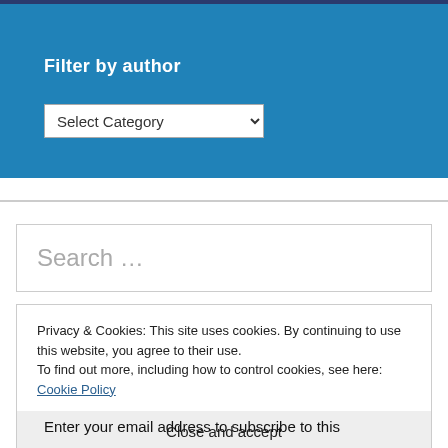Filter by author
[Figure (screenshot): Dropdown selector with label 'Select Category' and a chevron arrow]
Search ...
Privacy & Cookies: This site uses cookies. By continuing to use this website, you agree to their use.
To find out more, including how to control cookies, see here: Cookie Policy
Close and accept
Enter your email address to subscribe to this